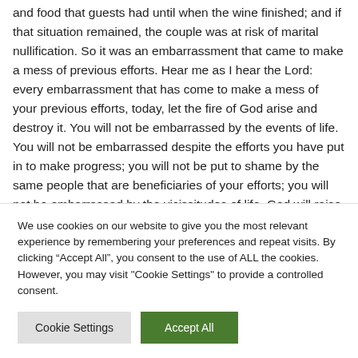and food that guests had until when the wine finished; and if that situation remained, the couple was at risk of marital nullification. So it was an embarrassment that came to make a mess of previous efforts. Hear me as I hear the Lord: every embarrassment that has come to make a mess of your previous efforts, today, let the fire of God arise and destroy it. You will not be embarrassed by the events of life. You will not be embarrassed despite the efforts you have put in to make progress; you will not be put to shame by the same people that are beneficiaries of your efforts; you will not be embarrassed by the vicissitudes of life. God will raise men who will save you
We use cookies on our website to give you the most relevant experience by remembering your preferences and repeat visits. By clicking "Accept All", you consent to the use of ALL the cookies. However, you may visit "Cookie Settings" to provide a controlled consent.